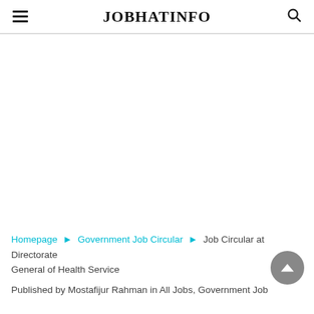JOBHATINFO
Homepage » Government Job Circular » Job Circular at Directorate General of Health Service
Published by Mostafijur Rahman in All Jobs, Government Job